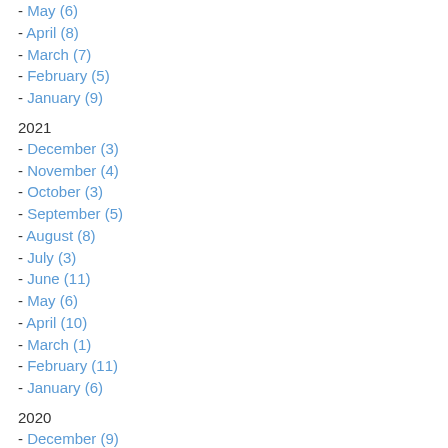- May (6)
- April (8)
- March (7)
- February (5)
- January (9)
2021
- December (3)
- November (4)
- October (3)
- September (5)
- August (8)
- July (3)
- June (11)
- May (6)
- April (10)
- March (1)
- February (11)
- January (6)
2020
- December (9)
- November (8)